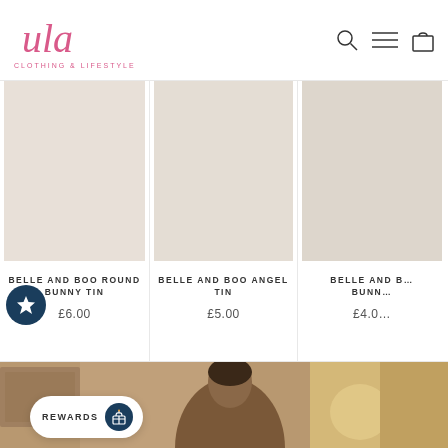[Figure (logo): Ula Clothing & Lifestyle logo in pink cursive script]
BELLE AND BOO ROUND BUNNY TIN
£6.00
BELLE AND BOO ANGEL TIN
£5.00
BELLE AND B... BUNN...
£4.0...
[Figure (photo): Woman with dark hair in a warmly lit interior setting, rewards widget overlay showing REWARDS with gift icon]
REWARDS